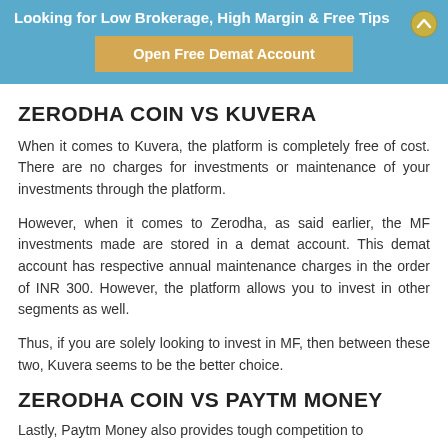Looking for Low Brokerage, High Margin & Free Tips
[Figure (other): Open Free Demat Account button/banner]
ZERODHA COIN VS KUVERA
When it comes to Kuvera, the platform is completely free of cost. There are no charges for investments or maintenance of your investments through the platform.
However, when it comes to Zerodha, as said earlier, the MF investments made are stored in a demat account. This demat account has respective annual maintenance charges in the order of INR 300. However, the platform allows you to invest in other segments as well.
Thus, if you are solely looking to invest in MF, then between these two, Kuvera seems to be the better choice.
ZERODHA COIN VS PAYTM MONEY
Lastly, Paytm Money also provides tough competition to